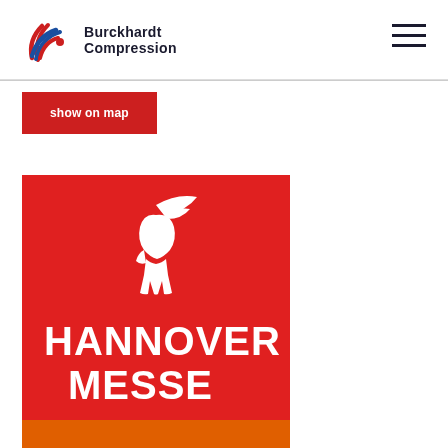[Figure (logo): Burckhardt Compression logo with blue/red concentric wave icon and company name in dark text]
[Figure (other): Hamburger navigation menu icon (three horizontal lines)]
show on map
[Figure (logo): Hannover Messe logo on red background with white stylized head/hermes figure and HANNOVER MESSE text in white]